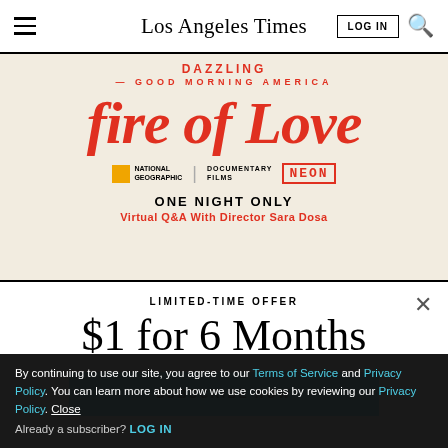Los Angeles Times — LOG IN
[Figure (photo): Advertisement for 'Fire of Love' documentary. Shows red stylized text 'fire of Love', with National Geographic | Documentary Films | NEON logos. Text reads 'DAZZLING — GOOD MORNING AMERICA', 'ONE NIGHT ONLY', 'Virtual Q&A With Director Sara Dosa']
$1 for 6 Months
LIMITED-TIME OFFER
SUBSCRIBE NOW
By continuing to use our site, you agree to our Terms of Service and Privacy Policy. You can learn more about how we use cookies by reviewing our Privacy Policy. Close
Already a subscriber? LOG IN